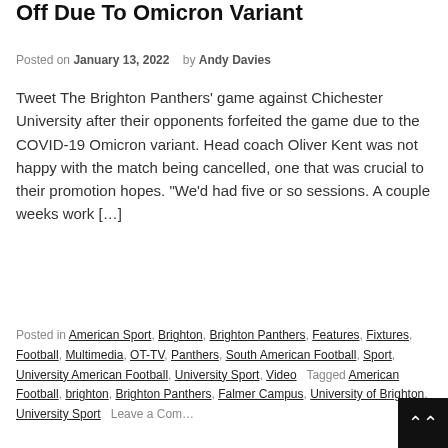Off Due To Omicron Variant
Posted on January 13, 2022   by Andy Davies
Tweet The Brighton Panthers' game against Chichester University after their opponents forfeited the game due to the COVID-19 Omicron variant. Head coach Oliver Kent was not happy with the match being cancelled, one that was crucial to their promotion hopes. "We'd had five or so sessions. A couple weeks work […]
Read More
Posted in American Sport, Brighton, Brighton Panthers, Features, Fixtures, Football, Multimedia, OT-TV, Panthers, South American Football, Sport, University American Football, University Sport, Video   Tagged American Football, brighton, Brighton Panthers, Falmer Campus, University of Brighton, University Sport   Leave a Com…